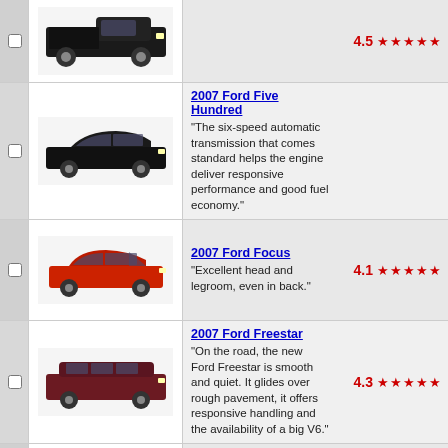[Figure (photo): Black pickup truck (Ford F-Series) - top row, partially visible]
4.5 ★★★★★ (rating for first car)
[Figure (photo): Black sedan - 2007 Ford Five Hundred]
2007 Ford Five Hundred
"The six-speed automatic transmission that comes standard helps the engine deliver responsive performance and good fuel economy."
[Figure (photo): Red hatchback - 2007 Ford Focus]
2007 Ford Focus
"Excellent head and legroom, even in back."
Rating: 4.1
[Figure (photo): Dark red/maroon minivan - 2007 Ford Freestar]
2007 Ford Freestar
"On the road, the new Ford Freestar is smooth and quiet. It glides over rough pavement, it offers responsive handling and the availability of a big V6."
Rating: 4.3
[Figure (photo): Blue/teal SUV - 2007 Ford Freestyle]
2007 Ford Freestyle
"Inside, the Freestyle offers excellent visibility from the cockpit and 'progressive theater seating' for the second and third rows: Each row is two inches higher than the one before it."
[Figure (photo): 2007 Ford Fusion - partially visible at bottom]
2007 Ford Fusion
"Taking styling themes established by Ford's 427 concept car during the 2003